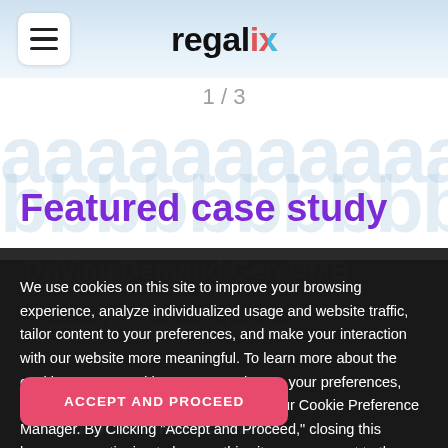regalix
1 / 3
Featured case study
We use cookies on this site to improve your browsing experience, analyze individualized usage and website traffic, tailor content to your preferences, and make your interaction with our website more meaningful. To learn more about the cookies we use and how you can change your preferences, please read our Cookie Policy and visit our Cookie Preference Manager. By Clicking "Accept and Proceed," closing this banner or continuing to browse this site, you consent to the use of cookies.
ACCEPT AND PROCEED
Month On Month Retention